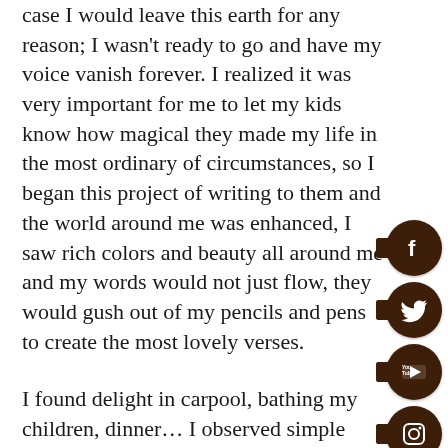case I would leave this earth for any reason; I wasn't ready to go and have my voice vanish forever. I realized it was very important for me to let my kids know how magical they made my life in the most ordinary of circumstances, so I began this project of writing to them and the world around me was enhanced, I saw rich colors and beauty all around me and my words would not just flow, they would gush out of my pencils and pens to create the most lovely verses.
I found delight in carpool, bathing my children, dinner… I observed simple family moments and they were all filled with wisdom and very important teachings to capture.
[Figure (illustration): Social media icon buttons (Facebook, Twitter, YouTube, Instagram, Amazon, Kindle) as dark brown circles with white icons and a tab on the left, positioned vertically on the right edge of the page.]